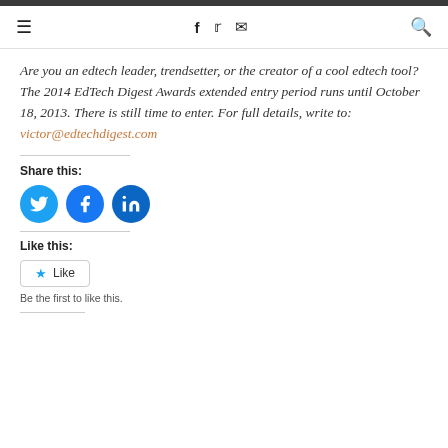≡  f  𝕏  ✉  🔍
Are you an edtech leader, trendsetter, or the creator of a cool edtech tool? The 2014 EdTech Digest Awards extended entry period runs until October 18, 2013. There is still time to enter. For full details, write to: victor@edtechdigest.com
Share this:
[Figure (other): Three circular social share buttons: Twitter (blue bird), Facebook (blue f), LinkedIn (blue in)]
Like this:
[Figure (other): Like button with star icon]
Be the first to like this.